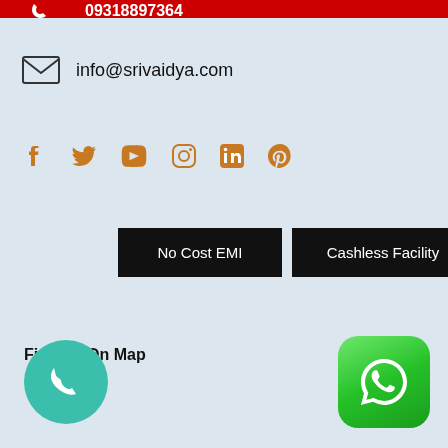09318897364
info@srivaidya.com
[Figure (infographic): Social media icons row: Facebook, Twitter, YouTube, Instagram, LinkedIn, Pinterest - all in orange/brown color]
No Cost EMI
Cashless Facility
Find Us On Map
[Figure (infographic): Teal circular phone call button at bottom left]
[Figure (infographic): Green WhatsApp button with rounded corners at bottom right]